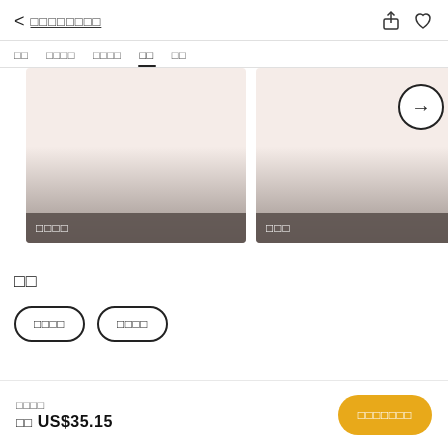< □□□□□□□□
□□  □□□□  □□□□  □□  □□
[Figure (photo): Two product image cards with gradient background from light pink to dark gray, each with a label at the bottom. A right-arrow circle button overlays the top-right area.]
□□
□□□□  □□□□
□□□□
□□ US$35.15  □□□□□□□